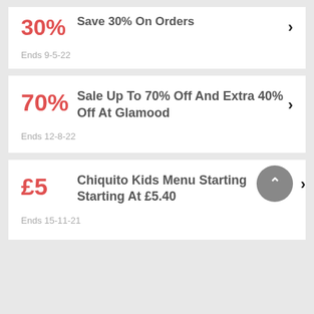30% — Save 30% On Orders
Ends 9-5-22
70% — Sale Up To 70% Off And Extra 40% Off At Glamood
Ends 12-8-22
£5 — Chiquito Kids Menu Starting Starting At £5.40
Ends 15-11-21